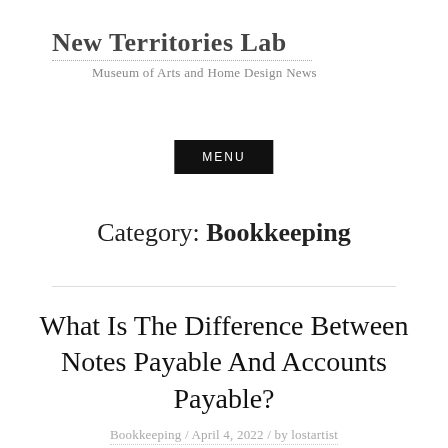New Territories Lab
Museum of Arts and Home Design News
MENU
Category: Bookkeeping
What Is The Difference Between Notes Payable And Accounts Payable?
Bookkeeping / April 4, 2022 / by lostartist